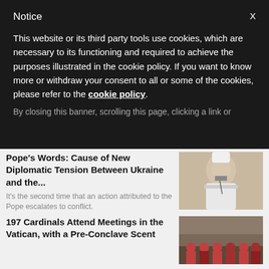Notice
This website or its third party tools use cookies, which are necessary to its functioning and required to achieve the purposes illustrated in the cookie policy. If you want to know more or withdraw your consent to all or some of the cookies, please refer to the cookie policy.
By closing this banner, scrolling this page, clicking a link or
POPE FRANCIS
Pope's Words: Cause of New Diplomatic Tension Between Ukraine and the...
It's the second time that an action attributed to the Pope escalates to conflict.
[Figure (photo): Photo of Pope Francis in white vestments, hands clasped in prayer]
197 Cardinals Attend Meetings in the Vatican, with a Pre-Conclave Scent
[Figure (photo): Photo of Cardinals gathered in the Vatican, wearing red robes]